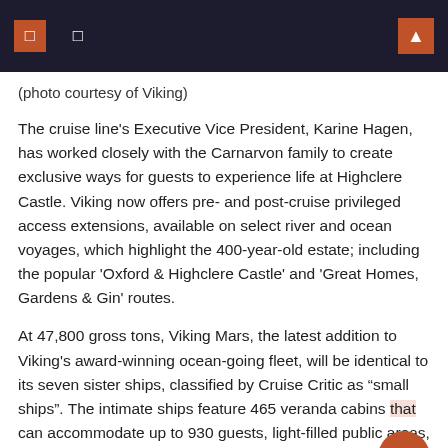navigation header with icons and search
(photo courtesy of Viking)
The cruise line's Executive Vice President, Karine Hagen, has worked closely with the Carnarvon family to create exclusive ways for guests to experience life at Highclere Castle. Viking now offers pre- and post-cruise privileged access extensions, available on select river and ocean voyages, which highlight the 400-year-old estate; including the popular 'Oxford & Highclere Castle' and 'Great Homes, Gardens & Gin' routes.
At 47,800 gross tons, Viking Mars, the latest addition to Viking's award-winning ocean-going fleet, will be identical to its seven sister ships, classified by Cruise Critic as "small ships". The intimate ships feature 465 veranda cabins that can accommodate up to 930 guests, light-filled public areas, multiple alfresco dining options, and the line's